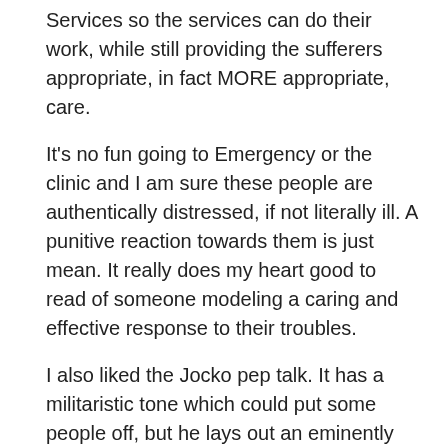Services so the services can do their work, while still providing the sufferers appropriate, in fact MORE appropriate, care.
It's no fun going to Emergency or the clinic and I am sure these people are authentically distressed, if not literally ill. A punitive reaction towards them is just mean. It really does my heart good to read of someone modeling a caring and effective response to their troubles.
I also liked the Jocko pep talk. It has a militaristic tone which could put some people off, but he lays out an eminently helpful attitude towards adversity. It's been a tough couple of weeks and it helped me.
Timothy • November 19, 2018 3:34 PM
@Faustus
I appreciate that you found value in the links. Having effective care is so important.
Yes, it does seem to have a little bit of a military flair.